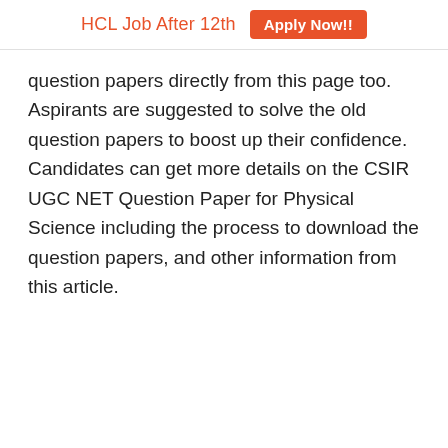HCL Job After 12th  Apply Now!!
question papers directly from this page too. Aspirants are suggested to solve the old question papers to boost up their confidence. Candidates can get more details on the CSIR UGC NET Question Paper for Physical Science including the process to download the question papers, and other information from this article.